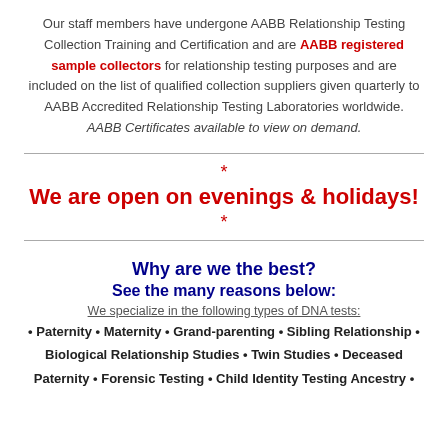Our staff members have undergone AABB Relationship Testing Collection Training and Certification and are AABB registered sample collectors for relationship testing purposes and are included on the list of qualified collection suppliers given quarterly to AABB Accredited Relationship Testing Laboratories worldwide. AABB Certificates available to view on demand.
* We are open on evenings & holidays! *
Why are we the best?
See the many reasons below:
We specialize in the following types of DNA tests:
• Paternity • Maternity • Grand-parenting • Sibling Relationship • Biological Relationship Studies • Twin Studies • Deceased Paternity • Forensic Testing • Child Identity Testing Ancestry •